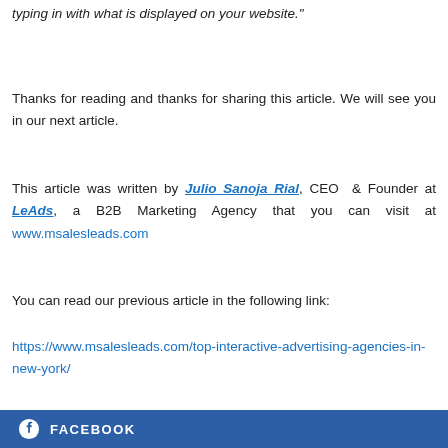typing in with what is displayed on your website."
Thanks for reading and thanks for sharing this article. We will see you in our next article.
This article was written by Julio Sanoja Rial, CEO & Founder at LeAds, a B2B Marketing Agency that you can visit at www.msalesleads.com
You can read our previous article in the following link:
https://www.msalesleads.com/top-interactive-advertising-agencies-in-new-york/
FACEBOOK